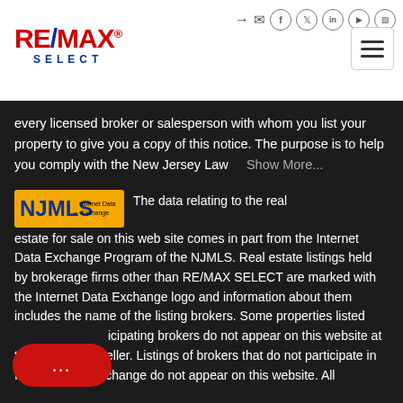RE/MAX SELECT — Navigation header with social icons and hamburger menu
every licensed broker or salesperson with whom you list your property to give you a copy of this notice. The purpose is to help you comply with the New Jersey Law   Show More...
[Figure (logo): NJMLS Internet Data Exchange logo — orange background with blue NJMLS text and 'Internet Data Exchange' text on right]
The data relating to the real estate for sale on this web site comes in part from the Internet Data Exchange Program of the NJMLS. Real estate listings held by brokerage firms other than RE/MAX SELECT are marked with the Internet Data Exchange logo and information about them includes the name of the listing brokers. Some properties listed participating brokers do not appear on this website at the seller. Listings of brokers that do not participate in Internet Data Exchange do not appear on this website. All